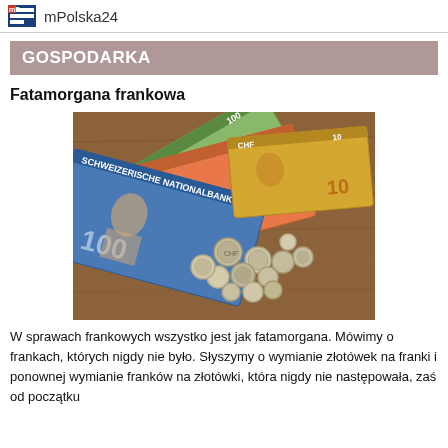mPolska24
GOSPODARKA
Fatamorgana frankowa
[Figure (photo): Swiss francs: several banknotes (100, 20, 10 CHF) fanned out on a wooden table along with multiple Swiss coins.]
W sprawach frankowych wszystko jest jak fatamorgana. Mówimy o frankach, których nigdy nie było. Słyszymy o wymianie złotówek na franki i ponownej wymianie franków na złotówki, która nigdy nie następowała, zaś od początku